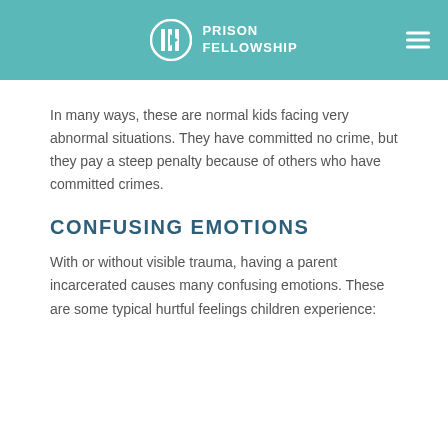PRISON FELLOWSHIP
In many ways, these are normal kids facing very abnormal situations. They have committed no crime, but they pay a steep penalty because of others who have committed crimes.
CONFUSING EMOTIONS
With or without visible trauma, having a parent incarcerated causes many confusing emotions. These are some typical hurtful feelings children experience: